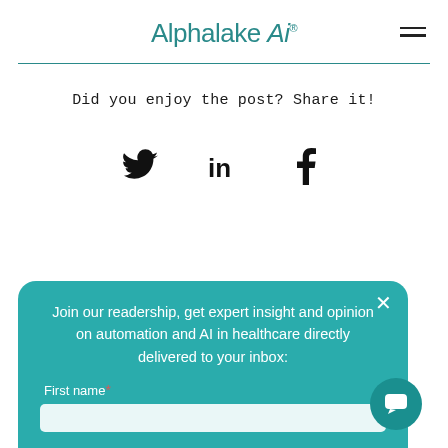Alphalake Ai®
Did you enjoy the post? Share it!
[Figure (illustration): Social media share icons: Twitter bird, LinkedIn 'in', Facebook 'f']
Join our readership, get expert insight and opinion on automation and AI in healthcare directly delivered to your inbox:
First name*